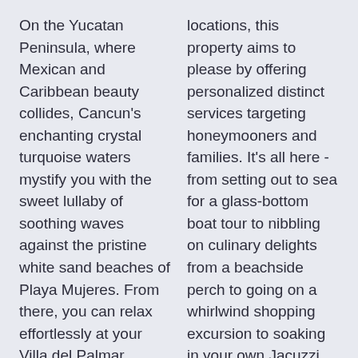On the Yucatan Peninsula, where Mexican and Caribbean beauty collides, Cancun's enchanting crystal turquoise waters mystify you with the sweet lullaby of soothing waves against the pristine white sand beaches of Playa Mujeres. From there, you can relax effortlessly at your Villa del Palmar Cancun beachside lounge. The biggest decision you'll make all
locations, this property aims to please by offering personalized distinct services targeting honeymooners and families. It's all here - from setting out to sea for a glass-bottom boat tour to nibbling on culinary delights from a beachside perch to going on a whirlwind shopping excursion to soaking in your own Jacuzzi tub. This fast-growing stretch of Cancun offers a bit of